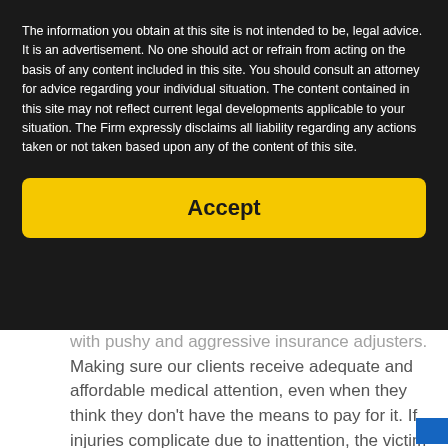The information you obtain at this site is not intended to be, legal advice. It is an advertisement. No one should act or refrain from acting on the basis of any content included in this site. You should consult an attorney for advice regarding your individual situation. The content contained in this site may not reflect current legal developments applicable to your situation. The Firm expressly disclaims all liability regarding any actions taken or not taken based upon any of the content of this site.
Accept
with pushy and aggressive insurance adjusters.
Making sure our clients receive adequate and affordable medical attention, even when they think they don't have the means to pay for it. If injuries complicate due to inattention, the victim could transfer liability from the defendant to him or herself.
Using our strong reputation for success to